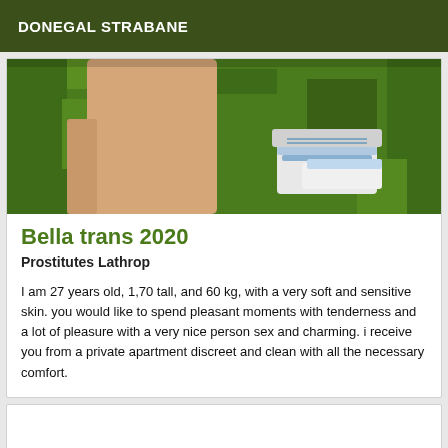DONEGAL STRABANE
[Figure (photo): Photo taken from above looking down at a person's legs and white sneakers standing on green grass]
Bella trans 2020
Prostitutes Lathrop
I am 27 years old, 1,70 tall, and 60 kg, with a very soft and sensitive skin. you would like to spend pleasant moments with tenderness and a lot of pleasure with a very nice person sex and charming. i receive you from a private apartment discreet and clean with all the necessary comfort.